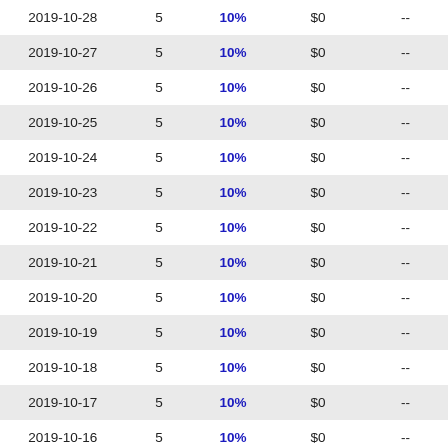| 2019-10-28 | 5 | 10% | $0 | -- |
| 2019-10-27 | 5 | 10% | $0 | -- |
| 2019-10-26 | 5 | 10% | $0 | -- |
| 2019-10-25 | 5 | 10% | $0 | -- |
| 2019-10-24 | 5 | 10% | $0 | -- |
| 2019-10-23 | 5 | 10% | $0 | -- |
| 2019-10-22 | 5 | 10% | $0 | -- |
| 2019-10-21 | 5 | 10% | $0 | -- |
| 2019-10-20 | 5 | 10% | $0 | -- |
| 2019-10-19 | 5 | 10% | $0 | -- |
| 2019-10-18 | 5 | 10% | $0 | -- |
| 2019-10-17 | 5 | 10% | $0 | -- |
| 2019-10-16 | 5 | 10% | $0 | -- |
| 2019-10-15 | 5 | 10% | $0 | -- |
| 2019-10-14 | 5 | 10% | $0 | -- |
| 2019-10-13 | 5 | 10% | $0 | -- |